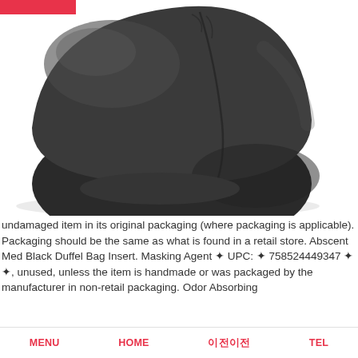[Figure (photo): A black duffel bag stuffed sack / compression bag, cylindrical shape, photographed from above at an angle on a white background. A small pink/red bar is visible at top left corner of the image.]
undamaged item in its original packaging (where packaging is applicable). Packaging should be the same as what is found in a retail store. Abscent Med Black Duffel Bag Insert. Masking Agent ✦ UPC: ✦ 758524449347 ✦ ✦, unused, unless the item is handmade or was packaged by the manufacturer in non-retail packaging. Odor Absorbing
MENU   HOME   이전이전   TEL